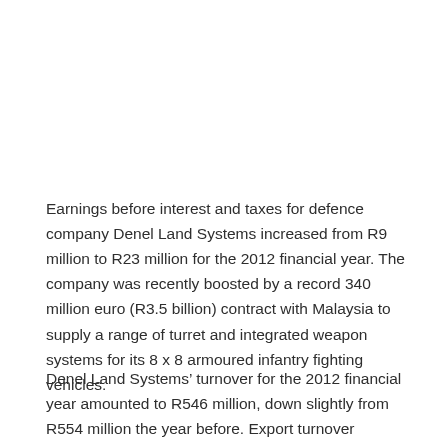Earnings before interest and taxes for defence company Denel Land Systems increased from R9 million to R23 million for the 2012 financial year. The company was recently boosted by a record 340 million euro (R3.5 billion) contract with Malaysia to supply a range of turret and integrated weapon systems for its 8 x 8 armoured infantry fighting vehicles.
Denel Land Systems’ turnover for the 2012 financial year amounted to R546 million, down slightly from R554 million the year before. Export turnover increased